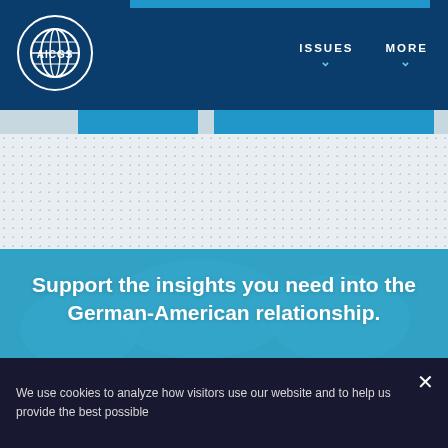[Figure (logo): AICGS logo — globe with concentric rings and 'AICGS' text in white circle on dark navy background]
ISSUES ▾   MORE ▾
[Figure (screenshot): Navigation bar accent strip and dotted pattern background area]
Support the insights you need into the German-American relationship.
Support Our Work
We use cookies to analyze how visitors use our website and to help us provide the best possible